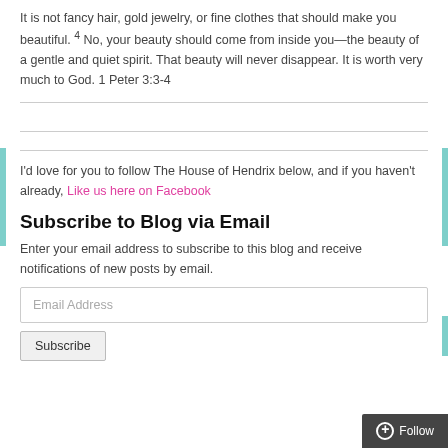It is not fancy hair, gold jewelry, or fine clothes that should make you beautiful. ⁴ No, your beauty should come from inside you—the beauty of a gentle and quiet spirit. That beauty will never disappear. It is worth very much to God. 1 Peter 3:3-4
I’d love for you to follow The House of Hendrix below, and if you haven’t already, Like us here on Facebook
Subscribe to Blog via Email
Enter your email address to subscribe to this blog and receive notifications of new posts by email.
Email Address
Subscribe
⊕ Follow